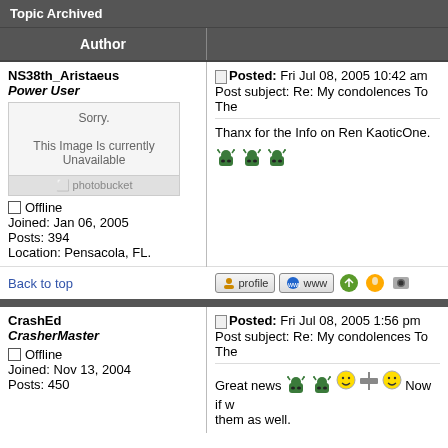Topic Archived
Author
NS38th_Aristaeus
Power User
Offline
Joined: Jan 06, 2005
Posts: 394
Location: Pensacola, FL.
Posted: Fri Jul 08, 2005 10:42 am
Post subject: Re: My condolences To The
Thanx for the Info on Ren KaoticOne.
Back to top
CrashEd
CrasherMaster
Offline
Joined: Nov 13, 2004
Posts: 450
Posted: Fri Jul 08, 2005 1:56 pm
Post subject: Re: My condolences To The
Great news  Now if w them as well.